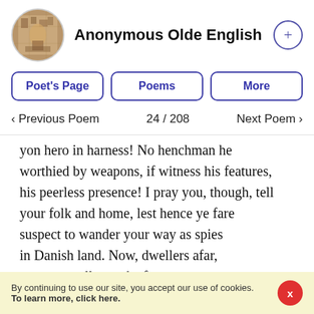Anonymous Olde English
Poet's Page   Poems   More
< Previous Poem   24 / 208   Next Poem >
yon hero in harness! No henchman he worthied by weapons, if witness his features, his peerless presence! I pray you, though, tell your folk and home, lest hence ye fare suspect to wander your way as spies in Danish land. Now, dwellers afar, ocean-travellers, take from me
By continuing to use our site, you accept our use of cookies. To learn more, click here.